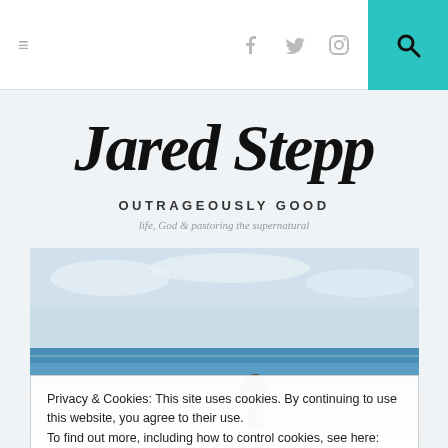≡  f  🐦  📷  🔍
Jared Stepp
OUTRAGEOUSLY GOOD
life, God & pastoring the supernatural
[Figure (photo): Person standing at the beach shore with blue ocean water and sky in background]
Privacy & Cookies: This site uses cookies. By continuing to use this website, you agree to their use.
To find out more, including how to control cookies, see here: Cookie Policy
Close and accept